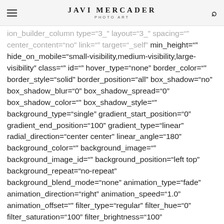JAVI MERCADER PHOTO ART
ion_builder_column type="3_" layout="3_" spacing="" center_content="no" link="" target="_self" min_height="" hide_on_mobile="small-visibility,medium-visibility,large-visibility" class="" id="" hover_type="none" border_color="" border_style="solid" border_position="all" box_shadow="no" box_shadow_blur="0" box_shadow_spread="0" box_shadow_color="" box_shadow_style="" background_type="single" gradient_start_position="0" gradient_end_position="100" gradient_type="linear" radial_direction="center center" linear_angle="180" background_color="" background_image="" background_image_id="" background_position="left top" background_repeat="no-repeat" background_blend_mode="none" animation_type="fade" animation_direction="right" animation_speed="1.0" animation_offset="" filter_type="regular" filter_hue="0" filter_saturation="100" filter_brightness="100" filter_contrast="100"